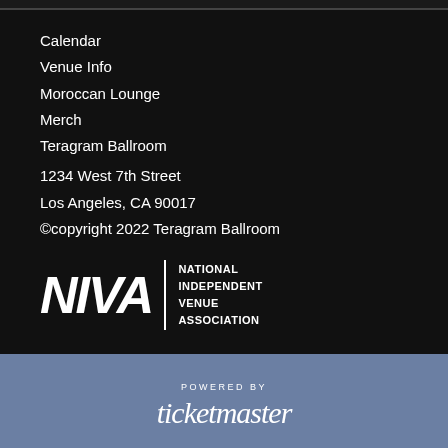Calendar
Venue Info
Moroccan Lounge
Merch
Teragram Ballroom
1234 West 7th Street
Los Angeles, CA 90017
©copyright 2022 Teragram Ballroom
[Figure (logo): NIVA - National Independent Venue Association logo, white text on black background]
POWERED BY
[Figure (logo): Ticketmaster logo in white italic text]
WE ARE COMMITTED TO FULL WEBSITE ACCESSIBILITY FOR ALL OF OUR FANS, INCLUDING THOSE WITH DISABILITIES. OUR WEBSITE IS MONITORED AND